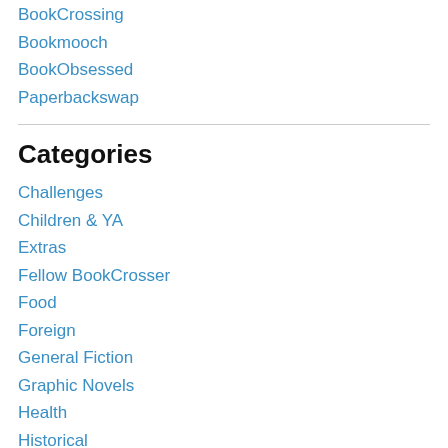BookCrossing
Bookmooch
BookObsessed
Paperbackswap
Categories
Challenges
Children & YA
Extras
Fellow BookCrosser
Food
Foreign
General Fiction
Graphic Novels
Health
Historical
Memoir & Biography
Misc.
Non-Fiction